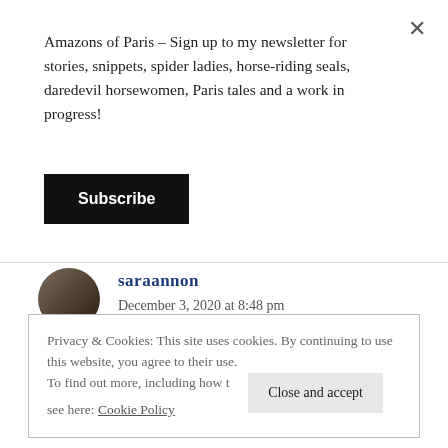×
Amazons of Paris – Sign up to my newsletter for stories, snippets, spider ladies, horse-riding seals, daredevil horsewomen, Paris tales and a work in progress!
Subscribe
saraannon
December 3, 2020 at 8:48 pm
The source for the al maqar image doesn't allow linking to your site anymore. YOU must have ruffled some
Privacy & Cookies: This site uses cookies. By continuing to use this website, you agree to their use.
To find out more, including how to control cookies, see here: Cookie Policy
Close and accept